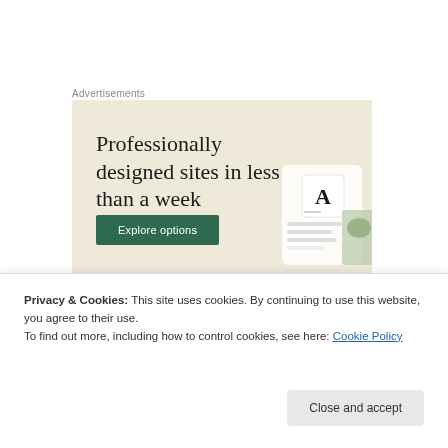Advertisements
[Figure (screenshot): Advertisement banner with beige background. Large serif text reads 'Professionally designed sites in less than a week'. Green button labeled 'Explore options'. Right side shows mockup of website design tools.]
Privacy & Cookies: This site uses cookies. By continuing to use this website, you agree to their use.
To find out more, including how to control cookies, see here: Cookie Policy
Close and accept